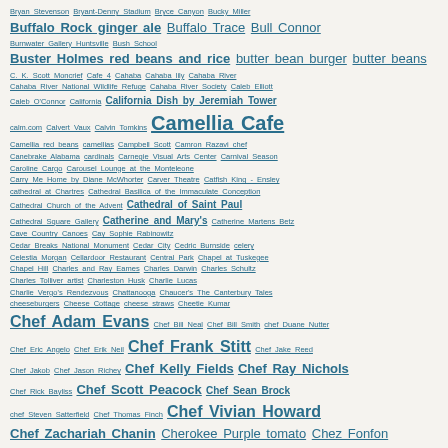Bryan Stevenson Bryant-Denny Stadium Bryce Canyon Bucky Miller Buffalo Rock ginger ale Buffalo Trace Bull Connor Burnwater Gallery Huntsville Bush School Buster Holmes red beans and rice butter bean burger butter beans C. K. Scott Moncrief Cafe 4 Cahaba Cahaba lily Cahaba River Cahaba River National Wildlife Refuge Cahaba River Society Caleb Elliott Caleb O'Connor California California Dish by Jeremiah Tower calm.com Calvert Vaux Calvin Tomkins Camellia Cafe Camellia red beans camellias Campbell Scott Camron Razavi chef Canebrake Alabama cardinals Carnegie Visual Arts Center Carnival Season Caroline Cargo Carousel Lounge at the Monteleone Carry Me Home by Diane McWhorter Carver Theatre Catfish King - Ensley cathedral at Chartres Cathedral Basilica of the Immaculate Conception Cathedral Church of the Advent Cathedral of Saint Paul Cathedral Square Gallery Catherine and Mary's Catherine Martens Betz Cave Country Canoes Cay Sophie Rabinowitz Cedar Breaks National Monument Cedar City Cedric Burnside celery Celestia Morgan Cellardoor Restaurant Central Park Chapel at Tuskegee Chapel Hill Charles and Ray Eames Charles Darwin Charles Schultz Charles Tolliver artist Charleston Husk Charlie Lucas Charlie Vergo's Rendezvous Chattanooga Chaucer's The Canterbury Tales cheeseburgers Cheese Cottage cheese straws Cheetie Kumar Chef Adam Evans Chef Bill Neal Chef Bill Smith chef Duane Nutter Chef Eric Angelo Chef Erik Neil Chef Frank Stitt Chef Jake Reed Chef Jakob Chef Jason Richey Chef Kelly Fields Chef Ray Nichols Chef Rick Bayliss Chef Scott Peacock Chef Sean Brock chef Steven Satterfield Chef Thomas Finch Chef Vivian Howard Chef Zachariah Chanin Cherokee Purple tomato Chez Fonfon Chilton County Chilton County Alabama Chilton County peaches Chilton Couty peaches Chris Brown director Christina Rossetti Christmas 2019 Christmas cards Christmas in Alabama